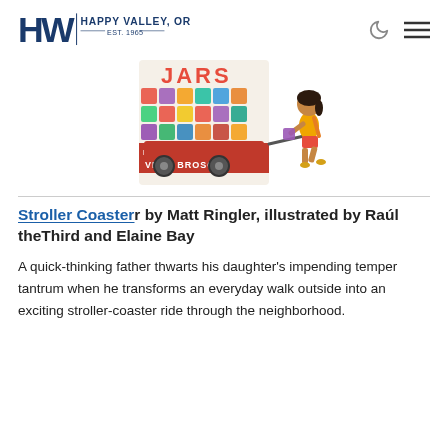Happy Valley, OR — Est. 1965
[Figure (illustration): Book cover showing a child pulling a wagon full of colorful jars, illustrated by Vera Brosgol, with the word JARS visible at top]
Stroller Coaster by Matt Ringler, illustrated by Raúl theThird and Elaine Bay
A quick-thinking father thwarts his daughter's impending temper tantrum when he transforms an everyday walk outside into an exciting stroller-coaster ride through the neighborhood.